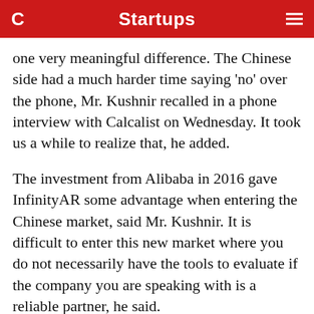Startups
one very meaningful difference. The Chinese side had a much harder time saying ‘no’ over the phone, Mr. Kushnir recalled in a phone interview with Calcalist on Wednesday. It took us a while to realize that, he added.
The investment from Alibaba in 2016 gave InfinityAR some advantage when entering the Chinese market, said Mr. Kushnir. It is difficult to enter this new market where you do not necessarily have the tools to evaluate if the company you are speaking with is a reliable partner, he said.
“Backed by a company like Alibaba, we got some respect and fame in the Chinese market,” Mr. Kushnir said. It gave the company a seal of approval that opened doors to leading players in the Far East, he added. Alibaba also helped InfinityAR with its day-to-day activity and recruitment efforts in China, Mr.